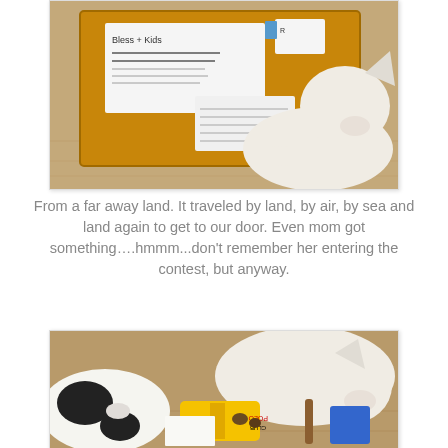[Figure (photo): A brown padded mailing envelope with a handwritten label and shipping stickers, lying on a wooden floor. A white French Bulldog is resting its chin on the package.]
From a far away land. It traveled by land, by air, by sea and land again to get to our door. Even mom got something….hmmm...don't remember her entering the contest, but anyway.
[Figure (photo): Two dogs, a white French Bulldog and a black-and-white dog, sniffing through the contents of an opened package on a wooden floor. Visible items include a bag of candy and other treats.]